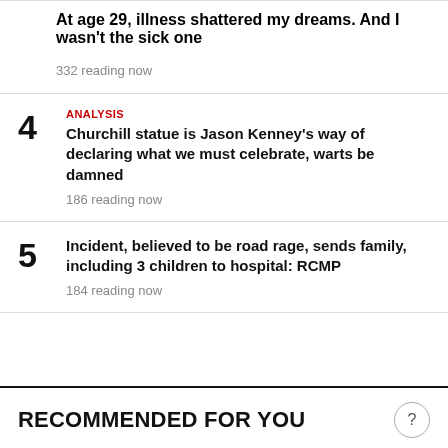At age 29, illness shattered my dreams. And I wasn't the sick one
332 reading now
ANALYSIS
Churchill statue is Jason Kenney's way of declaring what we must celebrate, warts be damned
186 reading now
Incident, believed to be road rage, sends family, including 3 children to hospital: RCMP
184 reading now
RECOMMENDED FOR YOU